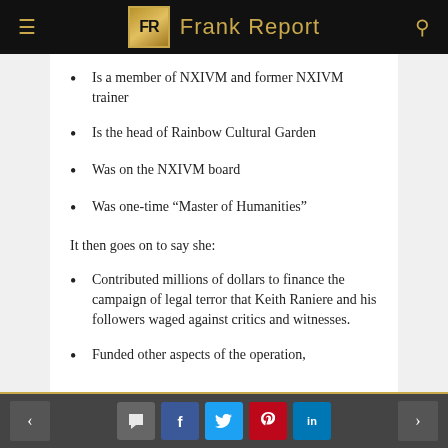Frank Report
Is a member of NXIVM and former NXIVM trainer
Is the head of Rainbow Cultural Garden
Was on the NXIVM board
Was one-time “Master of Humanities”
It then goes on to say she:
Contributed millions of dollars to finance the campaign of legal terror that Keith Raniere and his followers waged against critics and witnesses.
Funded other aspects of the operation,
Navigation and social share buttons